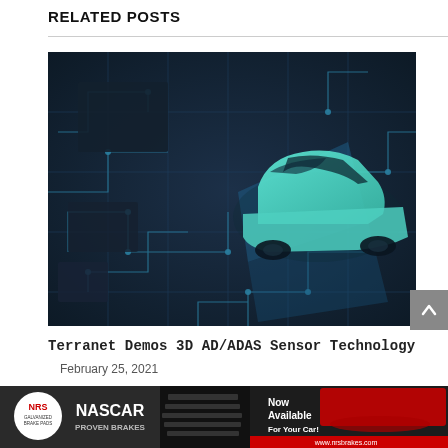RELATED POSTS
[Figure (photo): 3D render of a futuristic teal-colored car model sitting on a dark circuit board surface with glowing blue circuit traces and electronic components, viewed from an elevated angle]
Terranet Demos 3D AD/ADAS Sensor Technology
February 25, 2021
[Figure (photo): NRS Galvanized Brake Pads advertisement banner featuring NASCAR Proven Brakes logo with a red race car and text 'Now Available For Your Car!' and website www.nrsbrakes.com]